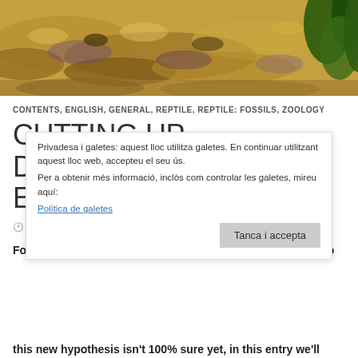[Figure (photo): Landscape photo of rocky arid terrain with sparse green vegetation/trees in the upper right corner]
CONTENTS, ENGLISH, GENERAL, REPTILE, REPTILE: FOSSILS, ZOOLOGY
CUTTING UP DINOSAUR'S EVOLUTIONARY TREE
25/04/2017  DAVID LÓPEZ BOSCH  4 COMENTARIS
For more than 130 years dinosaurs have been classified into
Privadesa i galetes: aquest lloc utilitza galetes. En continuar utilitzant aquest lloc web, accepteu el seu ús.
Per a obtenir més informació, inclòs com controlar les galetes, mireu aquí:
Política de galetes
Tanca i accepta
this new hypothesis isn't 100% sure yet, in this entry we'll